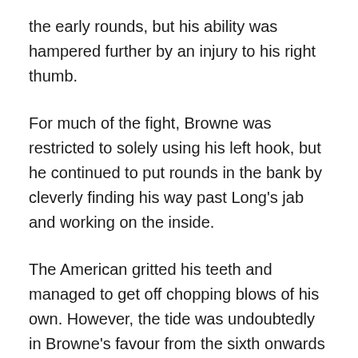the early rounds, but his ability was hampered further by an injury to his right thumb.
For much of the fight, Browne was restricted to solely using his left hook, but he continued to put rounds in the bank by cleverly finding his way past Long's jab and working on the inside.
The American gritted his teeth and managed to get off chopping blows of his own. However, the tide was undoubtedly in Browne's favour from the sixth onwards as he rocked Long's head back on a couple of occasions and started to get his combinations together.